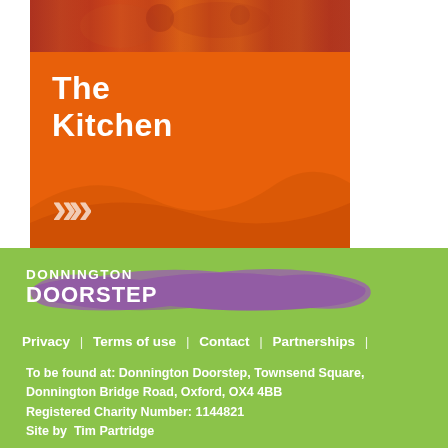[Figure (photo): Top strip showing children/people in orange and red tones, partially cropped]
The Kitchen
[Figure (illustration): Orange card with 'The Kitchen' title and double chevron arrows, with decorative wave background]
[Figure (logo): Donnington Doorstep logo with purple painted brush stroke background on green banner]
Privacy  |  Terms of use  |  Contact  |  Partnerships  |
To be found at: Donnington Doorstep, Townsend Square, Donnington Bridge Road, Oxford, OX4 4BB
Registered Charity Number: 1144821
Site by  Tim Partridge